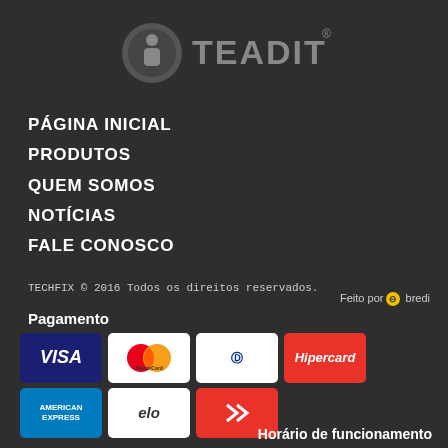[Figure (logo): TEADIT logo with circular icon and text TEADIT]
PÁGINA INICIAL
PRODUTOS
QUEM SOMOS
NOTÍCIAS
FALE CONOSCO
TECHFIX © 2016 Todos os direitos reservados.
Feito por ⊖ bredi
Pagamento
[Figure (other): Payment method logos: VISA, MasterCard, Diners Club, Hipercard, American Express, Elo, Bradesco]
Horário de funcionamento